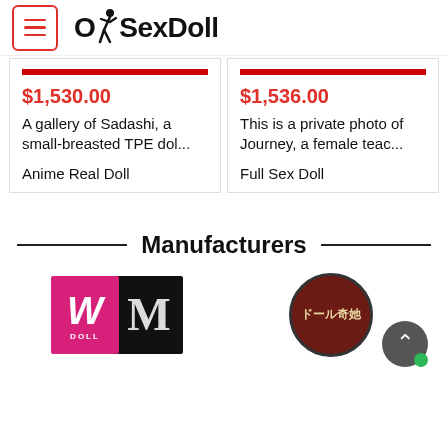OhSexDoll
$1,530.00
A gallery of Sadashi, a small-breasted TPE dol...
Anime Real Doll
$1,536.00
This is a private photo of Journey, a female teac...
Full Sex Doll
Manufacturers
[Figure (logo): WDoll pink square logo with stylized W]
[Figure (logo): Black square logo with textured letter M]
[Figure (logo): Dark red circular logo with Japanese text ドール奇她]
[Figure (illustration): Grey scroll-to-top button with upward chevron and green dot]